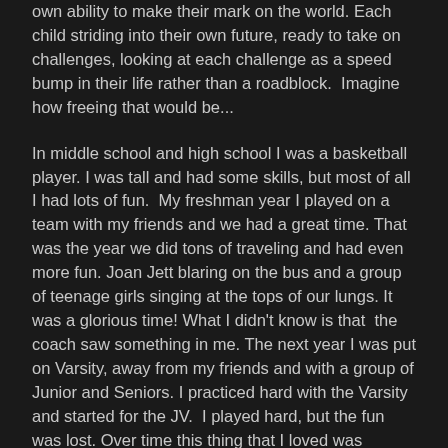own ability to make their mark on the world. Each child striding into their own future, ready to take on challenges, looking at each challenge as a speed bump in their life rather than a roadblock.  Imagine how freeing that would be...
In middle school and high school I was a basketball player. I was tall and had some skills, but most of all I had lots of fun.  My freshman year I played on a team with my friends and we had a great time. That was the year we did tons of traveling and had even more fun. Joan Jett blaring on the bus and a group of teenage girls singing at the tops of our lungs. It was a glorious time! What I didn't know is that  the coach saw something in me. The next year I was put on Varsity, away from my friends and with a group of Junior and Seniors. I practiced hard with the Varsity and started for the JV.  I played hard, but the fun was lost. Over time this thing that I loved was beginning to become a thing I hated. After much soul searching, I went to the coach and told him I wanted to